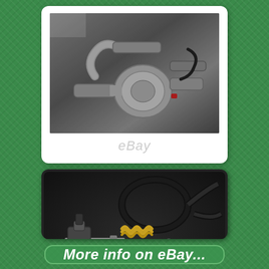[Figure (photo): Close-up photo of a turbocharger or engine component installed in a vehicle engine bay, showing metallic pipes, hoses, and mechanical parts. eBay watermark visible.]
[Figure (photo): Product photo on dark background showing an automotive kit with hoses, springs, bolts, bracket, and o-rings laid out on a black surface. eBay watermark visible.]
More info on eBay...